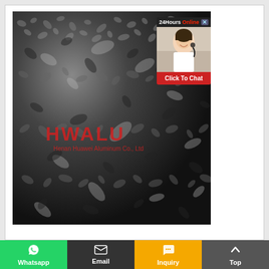[Figure (photo): Close-up photo of a textured aluminum sheet (embossed/stucco pattern) in dark metallic silver-black tones. The surface shows an irregular raised pattern characteristic of stucco or orange-peel embossed aluminum. Watermark text 'HWALU' and 'Henan Huawei Aluminum Co., Ltd' is overlaid in red on the image. A live chat widget appears in the upper-right corner showing a customer service agent wearing a headset, with '24Hours Online' header and 'Click To Chat' button.]
[Figure (photo): Customer service chat widget overlay: shows agent photo, '24Hours Online' label, and red 'Click To Chat' button.]
Whatsapp  Email  Inquiry  Top